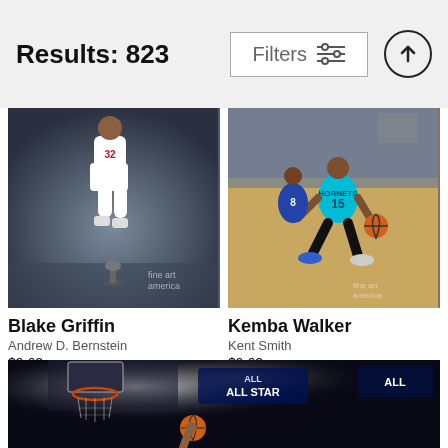Results: 823
[Figure (photo): Blake Griffin mid-air dunk, NBA player wearing #32 Philadelphia 76ers white uniform against a dark moody background with NBA logo trophy on the ground. Fine Art America watermark visible.]
Blake Griffin
Andrew D. Bernstein
$9.62
[Figure (photo): Kemba Walker #15 in Charlotte Hornets teal uniform dribbling the ball against a Philadelphia 76ers defender #8, inside an arena with crowd in background. Fine Art America watermark visible.]
Kemba Walker
Kent Smith
$9.62
[Figure (photo): NBA All-Star game arena scene showing a basketball near a hoop, with bright lights and a large illuminated ALL STAR banner/sign in the background.]